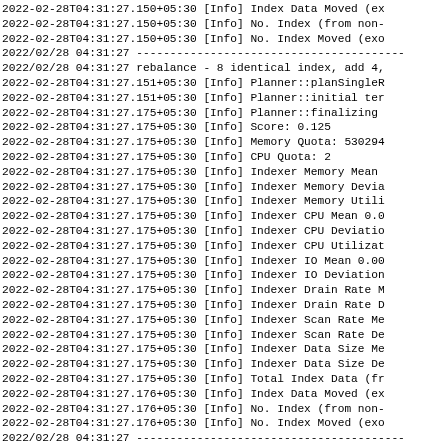2022-02-28T04:31:27.150+05:30 [Info] Index Data Moved (ex
2022-02-28T04:31:27.150+05:30 [Info] No. Index (from non-
2022-02-28T04:31:27.150+05:30 [Info] No. Index Moved (exo
2022/02/28 04:31:27 ----------------------------------------
2022/02/28 04:31:27 rebalance - 8 identical index, add 4,
2022-02-28T04:31:27.151+05:30 [Info] Planner::planSingleR
2022-02-28T04:31:27.151+05:30 [Info] Planner::initial ter
2022-02-28T04:31:27.175+05:30 [Info] Planner::finalizing
2022-02-28T04:31:27.175+05:30 [Info] Score: 0.125
2022-02-28T04:31:27.175+05:30 [Info] Memory Quota: 530294
2022-02-28T04:31:27.175+05:30 [Info] CPU Quota: 2
2022-02-28T04:31:27.175+05:30 [Info] Indexer Memory Mean
2022-02-28T04:31:27.175+05:30 [Info] Indexer Memory Devia
2022-02-28T04:31:27.175+05:30 [Info] Indexer Memory Utili
2022-02-28T04:31:27.175+05:30 [Info] Indexer CPU Mean 0.0
2022-02-28T04:31:27.175+05:30 [Info] Indexer CPU Deviatio
2022-02-28T04:31:27.175+05:30 [Info] Indexer CPU Utilizat
2022-02-28T04:31:27.175+05:30 [Info] Indexer IO Mean 0.00
2022-02-28T04:31:27.175+05:30 [Info] Indexer IO Deviation
2022-02-28T04:31:27.175+05:30 [Info] Indexer Drain Rate M
2022-02-28T04:31:27.175+05:30 [Info] Indexer Drain Rate D
2022-02-28T04:31:27.175+05:30 [Info] Indexer Scan Rate Me
2022-02-28T04:31:27.175+05:30 [Info] Indexer Scan Rate De
2022-02-28T04:31:27.175+05:30 [Info] Indexer Data Size Me
2022-02-28T04:31:27.175+05:30 [Info] Indexer Data Size De
2022-02-28T04:31:27.175+05:30 [Info] Total Index Data (fr
2022-02-28T04:31:27.176+05:30 [Info] Index Data Moved (ex
2022-02-28T04:31:27.176+05:30 [Info] No. Index (from non-
2022-02-28T04:31:27.176+05:30 [Info] No. Index Moved (exo
2022/02/28 04:31:27 ----------------------------------------
2022/02/28 04:31:27 rebalance - 8 identical index, add 4,